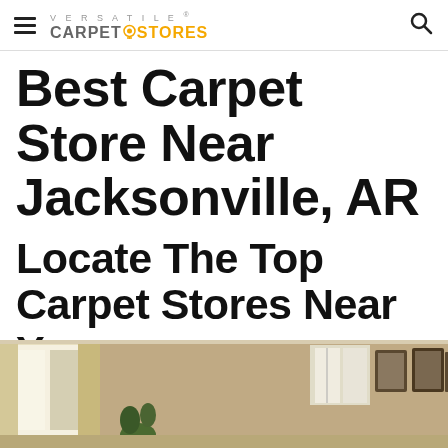VERSATILE CARPET STORES
Best Carpet Store Near Jacksonville, AR
Locate The Top Carpet Stores Near You
[Figure (photo): Interior room photo showing a living area with carpet flooring, curtained windows with natural light, and framed artwork on a beige wall]